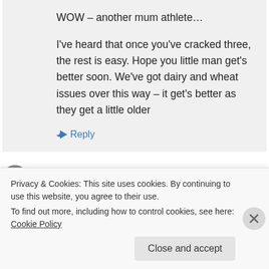WOW – another mum athlete…

I've heard that once you've cracked three, the rest is easy. Hope you little man get's better soon. We've got dairy and wheat issues over this way – it get's better as they get a little older
Reply
Pin on August 21, 2013 at 9:00 pm
Privacy & Cookies: This site uses cookies. By continuing to use this website, you agree to their use.
To find out more, including how to control cookies, see here: Cookie Policy
Close and accept